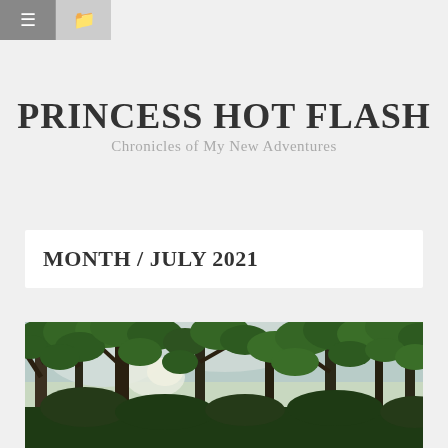≡  🗀
PRINCESS HOT FLASH
Chronicles of My New Adventures
MONTH / JULY 2021
[Figure (photo): Upward view of tropical trees with green foliage against a bright sky, sunlight filtering through the canopy]